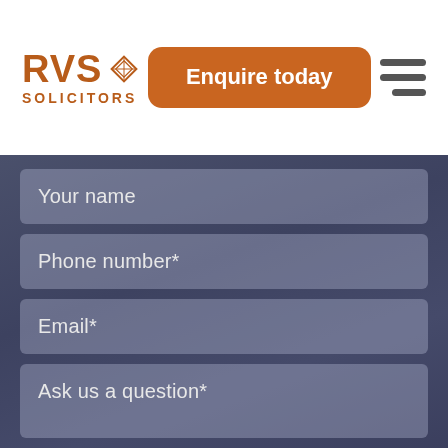[Figure (logo): RVS Solicitors logo with diamond icon in orange/brown color]
Enquire today
[Figure (other): Hamburger menu icon with three horizontal bars]
Your name
Phone number*
Email*
Ask us a question*